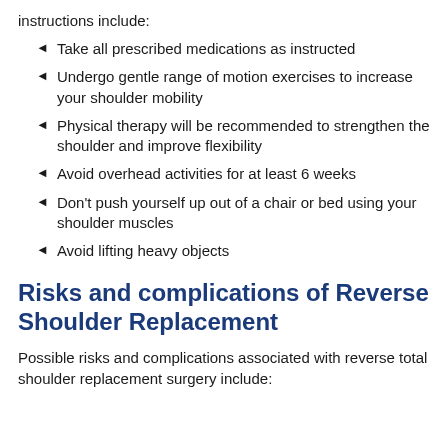instructions include:
Take all prescribed medications as instructed
Undergo gentle range of motion exercises to increase your shoulder mobility
Physical therapy will be recommended to strengthen the shoulder and improve flexibility
Avoid overhead activities for at least 6 weeks
Don't push yourself up out of a chair or bed using your shoulder muscles
Avoid lifting heavy objects
Risks and complications of Reverse Shoulder Replacement
Possible risks and complications associated with reverse total shoulder replacement surgery include: